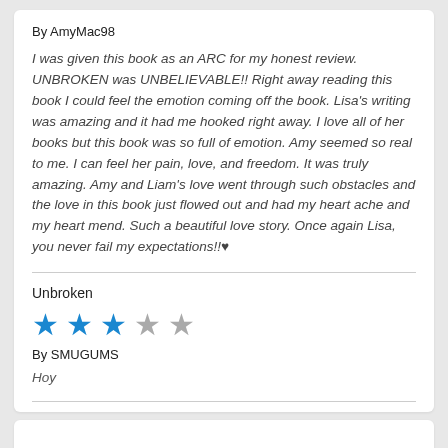By AmyMac98
I was given this book as an ARC for my honest review. UNBROKEN was UNBELIEVABLE!! Right away reading this book I could feel the emotion coming off the book. Lisa's writing was amazing and it had me hooked right away. I love all of her books but this book was so full of emotion. Amy seemed so real to me. I can feel her pain, love, and freedom. It was truly amazing. Amy and Liam's love went through such obstacles and the love in this book just flowed out and had my heart ache and my heart mend. Such a beautiful love story. Once again Lisa, you never fail my expectations!!♥
Unbroken
[Figure (other): 3 filled blue stars and 2 empty gray stars rating]
By SMUGUMS
Hoy